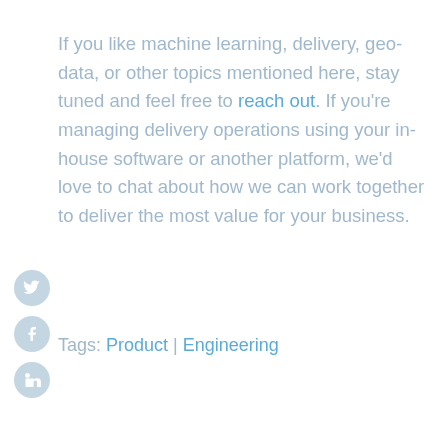If you like machine learning, delivery, geo-data, or other topics mentioned here, stay tuned and feel free to reach out. If you're managing delivery operations using your in-house software or another platform, we'd love to chat about how we can work together to deliver the most value for your business.
[Figure (other): Social media icons: Twitter, Facebook, LinkedIn circles on the left side]
Tags: Product | Engineering